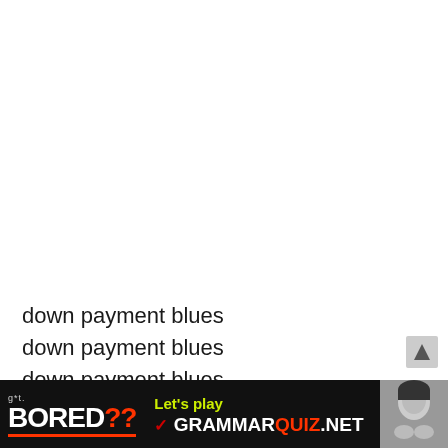down payment blues
down payment blues
down payment blues

i got holes in my shoes
and i'm way overdue
[Figure (other): Advertisement banner at bottom: 'Got BORED?? Let's play GRAMMARQUIZ.NET' with a photo of a person resting their head on their hands, dark background.]